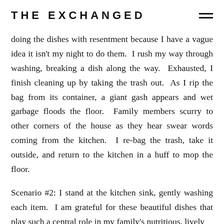THE EXCHANGED
doing the dishes with resentment because I have a vague idea it isn't my night to do them.  I rush my way through washing, breaking a dish along the way.  Exhausted, I finish cleaning up by taking the trash out.  As I rip the bag from its container, a giant gash appears and wet garbage floods the floor.  Family members scurry to other corners of the house as they hear swear words coming from the kitchen.  I re-bag the trash, take it outside, and return to the kitchen in a huff to mop the floor.
Scenario #2: I stand at the kitchen sink, gently washing each item.  I am grateful for these beautiful dishes that play such a central role in my family's nutritious, lively